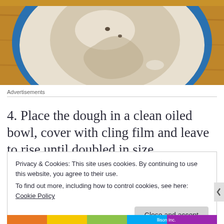[Figure (photo): Top-down photo of bread dough in a blue-rimmed bowl on a wooden surface]
Advertisements
4. Place the dough in a clean oiled bowl, cover with cling film and leave to rise until doubled in size.
Privacy & Cookies: This site uses cookies. By continuing to use this website, you agree to their use.
To find out more, including how to control cookies, see here: Cookie Policy
Close and accept